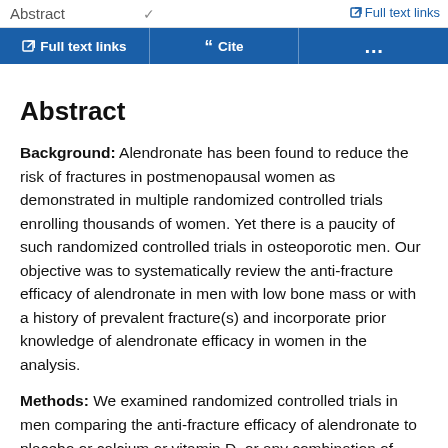Abstract   ✓   Full text links
Full text links   Cite   ...
Abstract
Background: Alendronate has been found to reduce the risk of fractures in postmenopausal women as demonstrated in multiple randomized controlled trials enrolling thousands of women. Yet there is a paucity of such randomized controlled trials in osteoporotic men. Our objective was to systematically review the anti-fracture efficacy of alendronate in men with low bone mass or with a history of prevalent fracture(s) and incorporate prior knowledge of alendronate efficacy in women in the analysis.
Methods: We examined randomized controlled trials in men comparing the anti-fracture efficacy of alendronate to placebo or calcium or vitamin D, or any combination of these. Studies of men with a mean age of or...